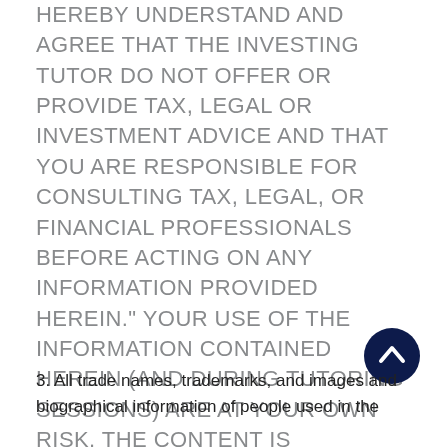HEREBY UNDERSTAND AND AGREE THAT THE INVESTING TUTOR DO NOT OFFER OR PROVIDE TAX, LEGAL OR INVESTMENT ADVICE AND THAT YOU ARE RESPONSIBLE FOR CONSULTING TAX, LEGAL, OR FINANCIAL PROFESSIONALS BEFORE ACTING ON ANY INFORMATION PROVIDED HEREIN." YOUR USE OF THE INFORMATION CONTAINED HEREIN (AND DURING TUTORING SESSIONS) ARE AT YOUR OWN RISK. THE CONTENT IS PROVIDED 'AS IS' AND WITHOUT WARRANTIES OF ANY KIND, EITHER EXPRESSED OR IMPLIED.
[Figure (other): Dark navy circular scroll-to-top button with upward chevron arrow]
3. All trade names, trademarks, and images and biographical information of people used in the